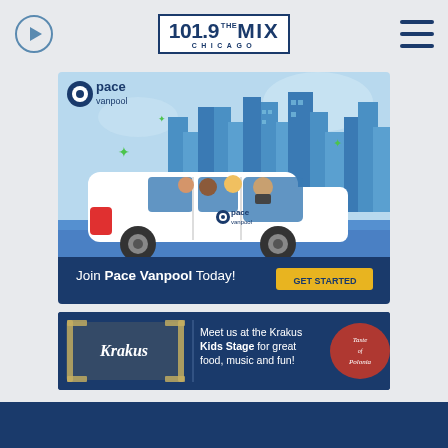[Figure (logo): 101.9 THE MIX CHICAGO radio station logo in dark blue box border]
[Figure (illustration): Pace Vanpool advertisement: cartoon illustration of a white minivan with animated passengers (diverse group) driving against a blue city skyline background. Text reads 'Join Pace Vanpool Today!' with a yellow 'GET STARTED' button. Pace vanpool logo in upper left.]
[Figure (illustration): Krakus advertisement banner: dark blue background with Krakus brand logo on left, text 'Meet us at the Krakus Kids Stage for great food, music and fun!' and Taste of Polonia logo/graphic on right.]